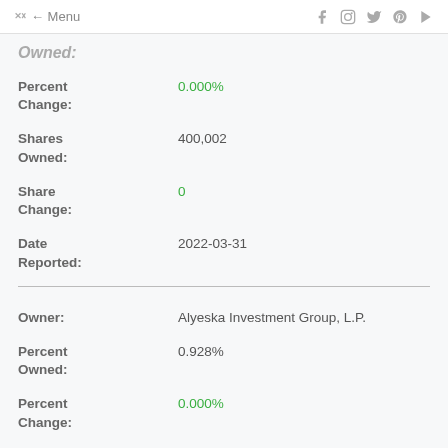Menu
Owned:
Percent Change: 0.000%
Shares Owned: 400,002
Share Change: 0
Date Reported: 2022-03-31
Owner: Alyeska Investment Group, L.P.
Percent Owned: 0.928%
Percent Change: 0.000%
Shares 400,002